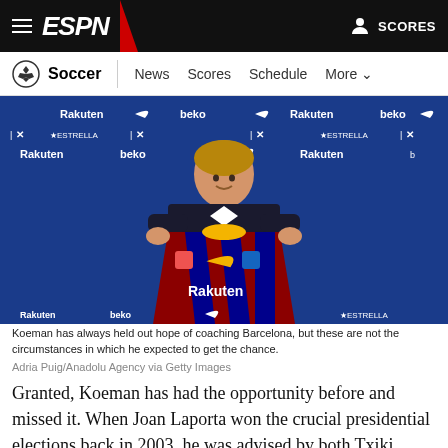ESPN — Soccer | News Scores Schedule More — SCORES
[Figure (photo): Ronald Koeman holding up a FC Barcelona jersey at a press conference backdrop with Rakuten, beko, La Liga, Estrella, and Nike sponsor logos]
Koeman has always held out hope of coaching Barcelona, but these are not the circumstances in which he expected to get the chance.
Adria Puig/Anadolu Agency via Getty Images
Granted, Koeman has had the opportunity before and missed it. When Joan Laporta won the crucial presidential elections back in 2003, he was advised by both Txiki Begiristain, his director of football, and by Cruyff that Koeman was a good idea but ...